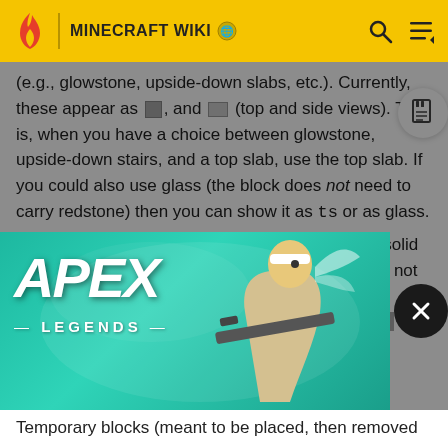MINECRAFT WIKI
(e.g., glowstone, upside-down slabs, etc.). Currently, these appear as [icon] and [icon] (top and side views). That is, when you have a choice between glowstone, upside-down stairs, and a top slab, use the top slab. If you could also use glass (the block does not need to carry redstone) then you can show it as ts or as glass.
Use AB (mnemonic: "Any Block") to indicate a solid block that is needed for structural purposes, but not for redstone purposes (containing water or lava, blo... updates off... e any bu... Cu...
[Figure (photo): Apex Legends advertisement banner showing a character with a sniper rifle against a teal/green background]
Temporary blocks (meant to be placed, then removed